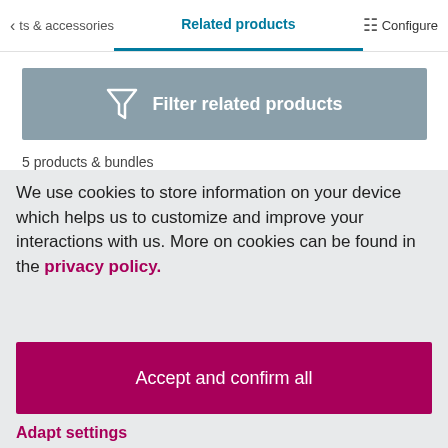ts & accessories   Related products   Configure
[Figure (other): Filter related products button with funnel icon on grey/steel blue background]
5 products & bundles
We use cookies to store information on your device which helps us to customize and improve your interactions with us. More on cookies can be found in the privacy policy.
Accept and confirm all
Adapt settings